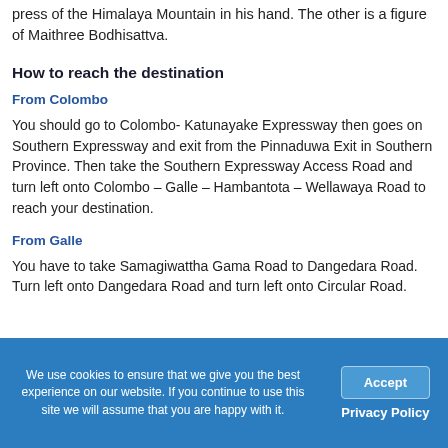press of the Himalaya Mountain in his hand. The other is a figure of Maithree Bodhisattva.
How to reach the destination
From Colombo
You should go to Colombo- Katunayake Expressway then goes on Southern Expressway and exit from the Pinnaduwa Exit in Southern Province. Then take the Southern Expressway Access Road and turn left onto Colombo – Galle – Hambantota – Wellawaya Road to reach your destination.
From Galle
You have to take Samagiwattha Gama Road to Dangedara Road. Turn left onto Dangedara Road and turn left onto Circular Road.
We use cookies to ensure that we give you the best experience on our website. If you continue to use this site we will assume that you are happy with it.